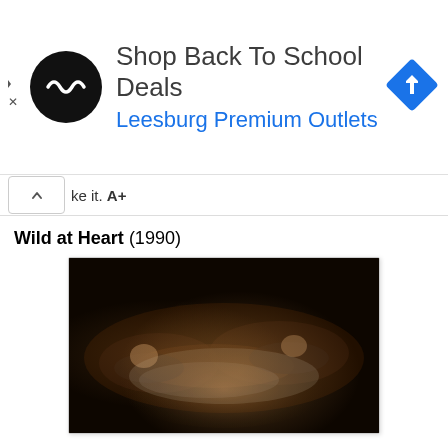[Figure (screenshot): Advertisement banner for 'Shop Back To School Deals' at Leesburg Premium Outlets, with a circular logo, text, and a blue navigation arrow icon on the right.]
ke it. A+
Wild at Heart (1990)
[Figure (photo): Dark film still from Wild at Heart (1990) showing two people lying on a bed in dim lighting, viewed from above.]
In the very first scene of Lynch’s Palme d'Or-winning Wild at Heart, southern bad boy Sailor Ripley (Nicolas Cage) is attacked at knifepoint and eventually, gruesomely, beats his attacker to death with his bare hands.  He's sent to prison for a brief stint, and when he's released, his passionate lover, Lula (Laura Dern) is waiting to hit the road with him. The two take off on an impromptu trip of self-discovery, encountering